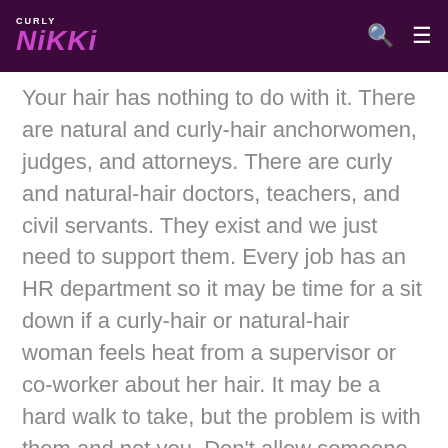CURLY NIKKI
Your hair has nothing to do with it. There are natural and curly-hair anchorwomen, judges, and attorneys. There are curly and natural-hair doctors, teachers, and civil servants. They exist and we just need to support them. Every job has an HR department so it may be time for a sit down if a curly-hair or natural-hair woman feels heat from a supervisor or co-worker about her hair. It may be a hard walk to take, but the problem is with them and not you. Don't allow someone else's perception of you to